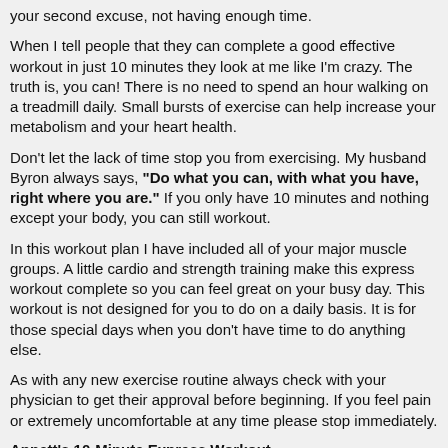your second excuse, not having enough time.
When I tell people that they can complete a good effective workout in just 10 minutes they look at me like I'm crazy.  The truth is, you can!  There is no need to spend an hour walking on a treadmill daily.  Small bursts of exercise can help increase your metabolism and your heart health.
Don't let the lack of time stop you from exercising. My husband Byron always says, "Do what you can, with what you have, right where you are."  If you only have 10 minutes and nothing except your body, you can still workout.
In this workout plan I have included all of your major muscle groups.  A little cardio and strength training make this express workout complete so you can feel great on your busy day. This workout is not designed for you to do on a daily basis.  It is for those special days when you don't have time to do anything else.
As with any new exercise routine always check with your physician to get their approval before beginning.  If you feel pain or extremely uncomfortable at any time please stop immediately.
Annett's 10-Minute Express Workout
1 minute  Jumping jacks